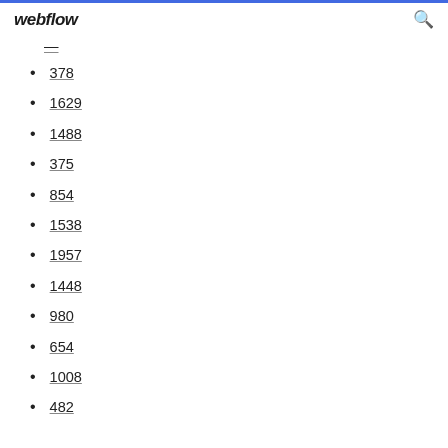webflow
378
1629
1488
375
854
1538
1957
1448
980
654
1008
482